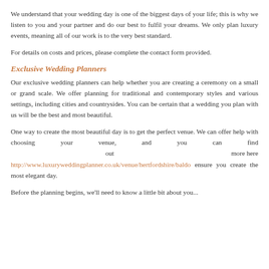We understand that your wedding day is one of the biggest days of your life; this is why we listen to you and your partner and do our best to fulfil your dreams. We only plan luxury events, meaning all of our work is to the very best standard.
For details on costs and prices, please complete the contact form provided.
Exclusive Wedding Planners
Our exclusive wedding planners can help whether you are creating a ceremony on a small or grand scale. We offer planning for traditional and contemporary styles and various settings, including cities and countrysides. You can be certain that a wedding you plan with us will be the best and most beautiful.
One way to create the most beautiful day is to get the perfect venue. We can offer help with choosing your venue, and you can find out more here http://www.luxuryweddingplanner.co.uk/venue/hertfordshire/baldo ensure you create the most elegant day.
Before the planning begins, we'll need to know a little bit about you...